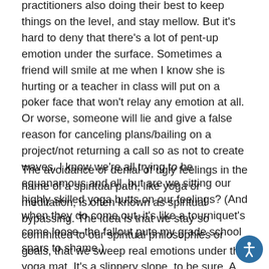practitioners also doing their best to keep things on the level, and stay mellow. But it's hard to deny that there's a lot of pent-up emotion under the surface. Sometimes a friend will smile at me when I know she is hurting or a teacher in class will put on a poker face that won't relay any emotion at all. Or worse, someone will lie and give a false reason for canceling plans/bailing on a project/not returning a call so as not to create waves. I know we're all trying to be equanamous and all, but are we sitting our highly skilled yoga butts on our feelings? (And when they do come out, it's like a tourniquet's come loose–the fallout puts my grade school spars to shame.)
The avoidance or denial of ugly feelings in the name of a spiritual path, like yoga or meditation, is often known as spiritual bypassing. The idea is that we stay so committed to our spiritual philosophies or goals, that we sweep real emotions under the yoga mat. It's a slippery slope, to be sure. A world in which we all walk around exuding unsightly outpourings of emotion